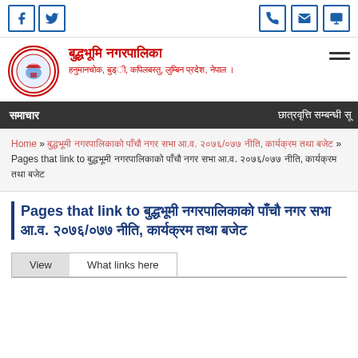Social media icons (Facebook, Twitter) on left; phone, email, fax icons on right
बुद्धभूमि नगरपालिका
हनुमानचोक, बुड्ी, कपिलबस्तु, लुम्बिन प्रदेश, नेपाल ।
समाचार | छात्रवृत्ति सम्बन्धी सू
Home » बुद्धभूमी नगरपालिकाको पाँचौ नगर सभा आ.व. २०७६/०७७ नीति, कार्यक्रम तथा बजेट » Pages that link to बुद्धभूमी नगरपालिकाको पाँचौ नगर सभा आ.व. २०७६/०७७ नीति, कार्यक्रम तथा बजेट
Pages that link to बुद्धभूमी नगरपालिकाको पाँचौ नगर सभा आ.व. २०७६/०७७ नीति, कार्यक्रम तथा बजेट
View | What links here